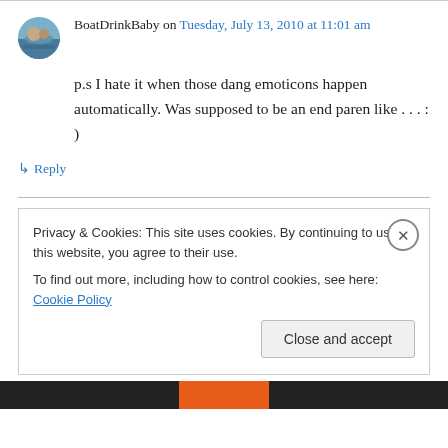BoatDrinkBaby on Tuesday, July 13, 2010 at 11:01 am
p.s I hate it when those dang emoticons happen automatically. Was supposed to be an end paren like . . . : )
↳ Reply
Privacy & Cookies: This site uses cookies. By continuing to use this website, you agree to their use. To find out more, including how to control cookies, see here: Cookie Policy
Close and accept